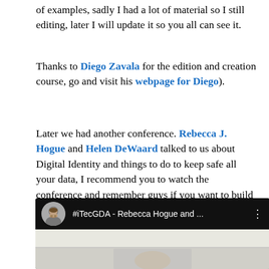of examples, sadly I had a lot of material so I still editing, later I will update it so you all can see it.
Thanks to Diego Zavala for the edition and creation course, go and visit his webpage for Diego).
Later we had another conference. Rebecca J. Hogue and Helen DeWaard talked to us about Digital Identity and things to do to keep safe all your data, I recommend you to watch the conference and remember guys if you want to build a web site buy your own Domain like me :).
[Figure (screenshot): YouTube video thumbnail showing '#iTecGDA - Rebecca Hogue and ...' with a circular avatar of a man with beard on a black bar, and a preview image below]